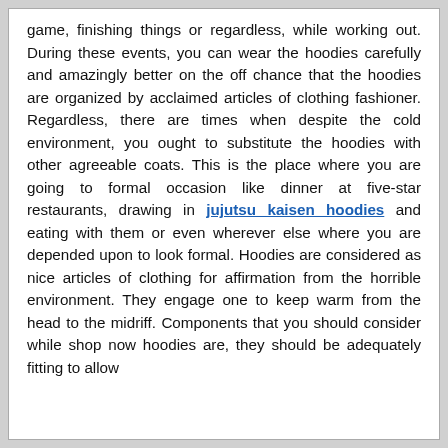game, finishing things or regardless, while working out. During these events, you can wear the hoodies carefully and amazingly better on the off chance that the hoodies are organized by acclaimed articles of clothing fashioner. Regardless, there are times when despite the cold environment, you ought to substitute the hoodies with other agreeable coats. This is the place where you are going to formal occasion like dinner at five-star restaurants, drawing in jujutsu kaisen hoodies and eating with them or even wherever else where you are depended upon to look formal. Hoodies are considered as nice articles of clothing for affirmation from the horrible environment. They engage one to keep warm from the head to the midriff. Components that you should consider while shop now hoodies are, they should be adequately fitting to allow